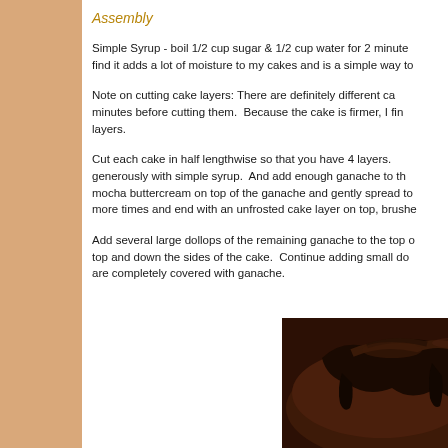Assembly
Simple Syrup - boil 1/2 cup sugar & 1/2 cup water for 2 minutes. I find it adds a lot of moisture to my cakes and is a simple way to
Note on cutting cake layers: There are definitely different ca... minutes before cutting them.  Because the cake is firmer, I fin... layers.
Cut each cake in half lengthwise so that you have 4 layers. generously with simple syrup.  And add enough ganache to th... mocha buttercream on top of the ganache and gently spread to... more times and end with an unfrosted cake layer on top, brushe...
Add several large dollops of the remaining ganache to the top o... top and down the sides of the cake.  Continue adding small do... are completely covered with ganache.
[Figure (photo): A chocolate cake with dark ganache being spread/drizzled on top, showing a rich dark chocolate coating.]